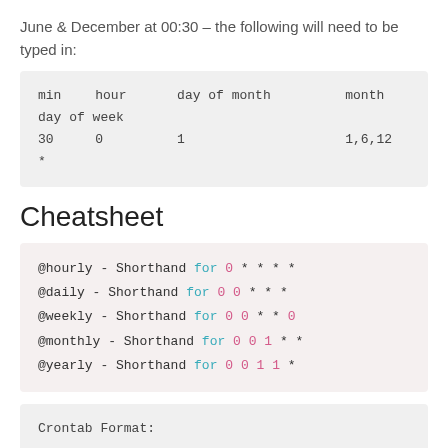June & December at 00:30 – the following will need to be typed in:
| min | hour | day of month | month | day of week |
| --- | --- | --- | --- | --- |
| 30 | 0 | 1 | 1,6,12 |
| * |  |  |  |
Cheatsheet
@hourly - Shorthand for 0 * * * *
@daily - Shorthand for 0 0 * * *
@weekly - Shorthand for 0 0 * * 0
@monthly - Shorthand for 0 0 1 * *
@yearly - Shorthand for 0 0 1 1 *
Crontab Format: